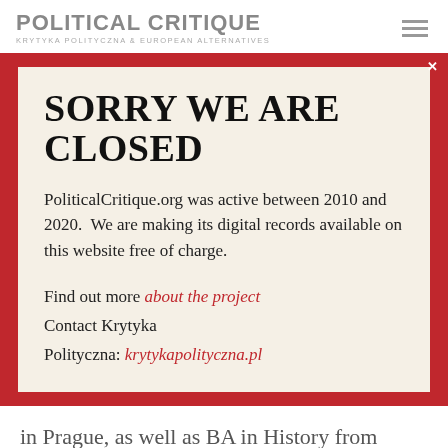POLITICAL CRITIQUE
KRYTYKA POLITYCZNA & EUROPEAN ALTERNATIVES
SORRY WE ARE CLOSED
PoliticalCritique.org was active between 2010 and 2020.  We are making its digital records available on this website free of charge.
Find out more about the project
Contact Krytyka Polityczna: krytykapolityczna.pl
in Prague, as well as BA in History from